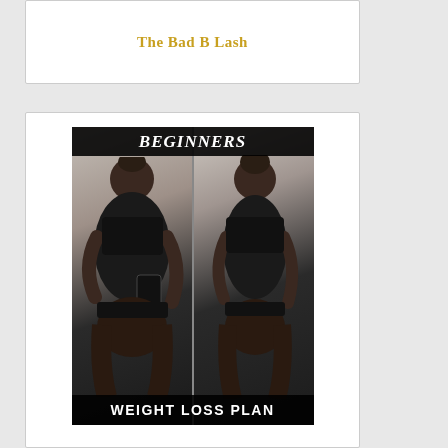The Bad B Lash
[Figure (photo): Before and after weight loss comparison photos of a woman in workout clothing, with 'BEGINNERS' text banner at top and 'WEIGHT LOSS PLAN' text banner at bottom]